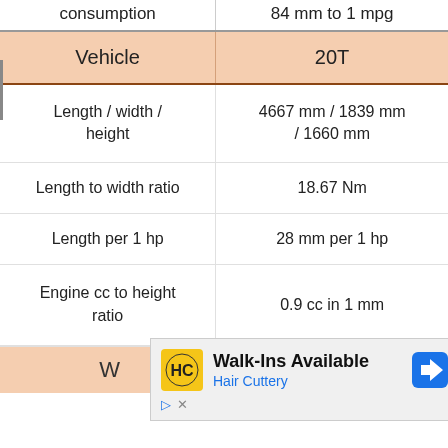| Vehicle | 20T |
| --- | --- |
| Length / width / height | 4667 mm / 1839 mm / 1660 mm |
| Length to width ratio | 18.67 Nm |
| Length per 1 hp | 28 mm per 1 hp |
| Engine cc to height ratio | 0.9 cc in 1 mm |
[Figure (other): Advertisement overlay: Hair Cuttery - Walk-Ins Available, with yellow HC logo and blue navigation arrow icon]